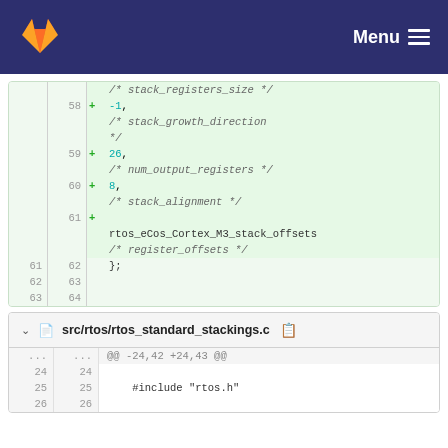GitLab — Menu
[Figure (screenshot): Code diff view showing added lines 58-61 with values -1, 26, 8 and comments stack_registers_size, stack_growth_direction, num_output_registers, stack_alignment, and rtos_eCos_Cortex_M3_stack_offsets register_offsets. Lines 61-63 show closing brace.]
src/rtos/rtos_standard_stackings.c
@@ -24,42 +24,43 @@
24    24
25    25    #include "rtos.h"
26    26